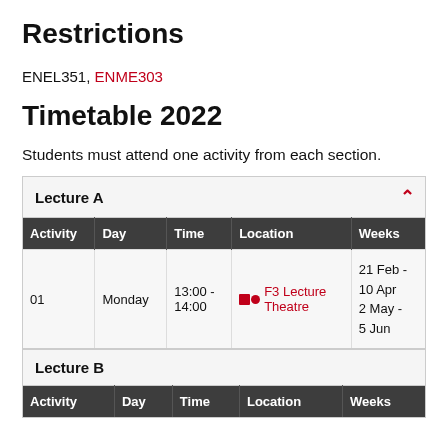Restrictions
ENEL351, ENME303
Timetable 2022
Students must attend one activity from each section.
| Activity | Day | Time | Location | Weeks |
| --- | --- | --- | --- | --- |
| 01 | Monday | 13:00 - 14:00 | F3 Lecture Theatre | 21 Feb - 10 Apr
2 May - 5 Jun |
| Activity | Day | Time | Location | Weeks |
| --- | --- | --- | --- | --- |